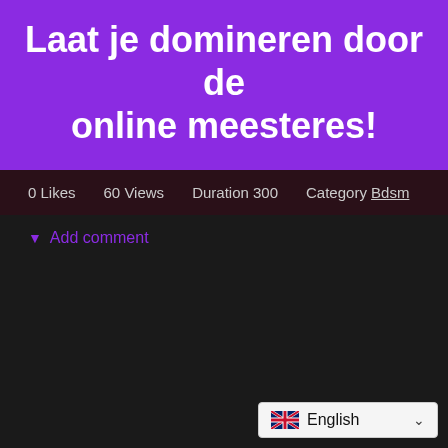Laat je domineren door de online meesteres!
0 Likes   60 Views  Duration 300  Category Bdsm
▼ Add comment
English